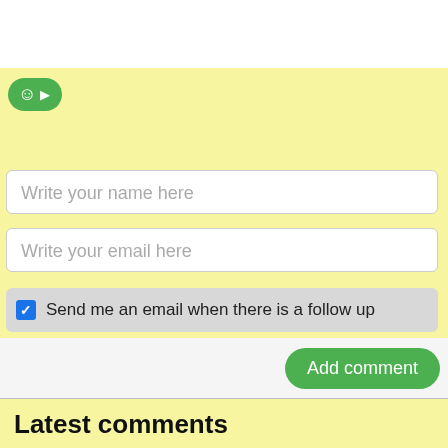[Figure (screenshot): Green emoji/smiley button with arrow indicator]
Write your name here
Write your email here
Send me an email when there is a follow up
Add comment
Latest comments
04.08 | 21:06
The fermented lemonade is so refreshing! Even if you ...
01.08 | 20:21
I can't wait until I get to the store and buy some ...